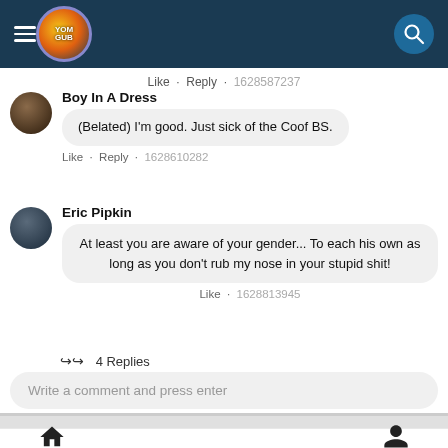[Figure (screenshot): App top navigation bar with hamburger menu, circular logo, and search button on dark blue background]
Like · Reply · 1628587237
Boy In A Dress
(Belated) I'm good. Just sick of the Coof BS.
Like · Reply · 1628610282
Eric Pipkin
At least you are aware of your gender... To each his own as long as you don't rub my nose in your stupid shit!
Like · 1628813945
4 Replies
Write a comment and press enter